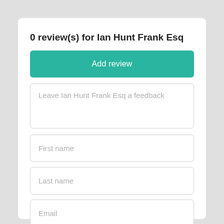0 review(s) for Ian Hunt Frank Esq
Add review
Leave Ian Hunt Frank Esq a feedback
First name
Last name
Email